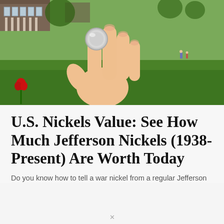[Figure (photo): A hand holding up a coin (nickel) outdoors against a backdrop of green lawn and a historic brick building, with a red flower in the lower left.]
U.S. Nickels Value: See How Much Jefferson Nickels (1938-Present) Are Worth Today
Do you know how to tell a war nickel from a regular Jefferson